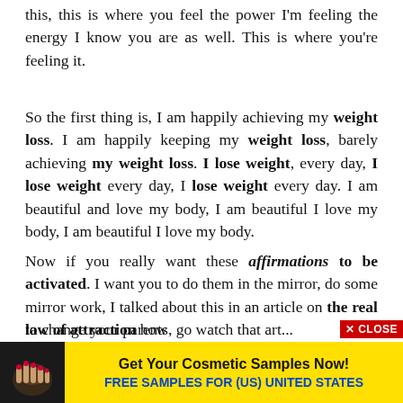this, this is where you feel the power I'm feeling the energy I know you are as well. This is where you're feeling it.
So the first thing is, I am happily achieving my weight loss. I am happily keeping my weight loss, barely achieving my weight loss. I lose weight, every day, I lose weight every day, I lose weight every day. I am beautiful and love my body, I am beautiful I love my body, I am beautiful I love my body.
Now if you really want these affirmations to be activated. I want you to do them in the mirror, do some mirror work, I talked about this in an article on the real law of attraction how to change your parents, go watch that art...
[Figure (screenshot): Advertisement banner: cosmetic product image on left with dark background, yellow background on right with text 'Get Your Cosmetic Samples Now!' in bold black and 'FREE SAMPLES FOR (US) UNITED STATES' in bold blue. A red 'X CLOSE' button appears at top right of the ad.]